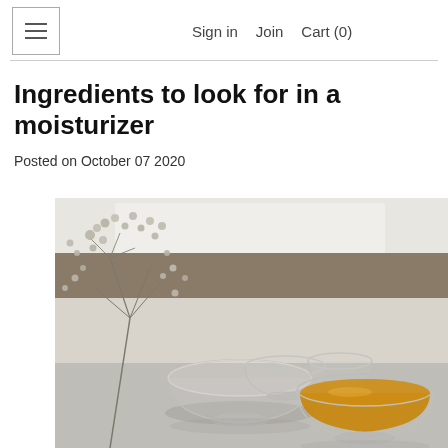Sign in  Join  Cart (0)
Ingredients to look for in a moisturizer
Posted on October 07 2020
[Figure (photo): Glass bowls and a small glass pitcher on a reflective surface, with dried white wildflowers (baby's breath) on the left. One bowl contains amber-colored liquid (oil). Soft natural light from a window in the background.]